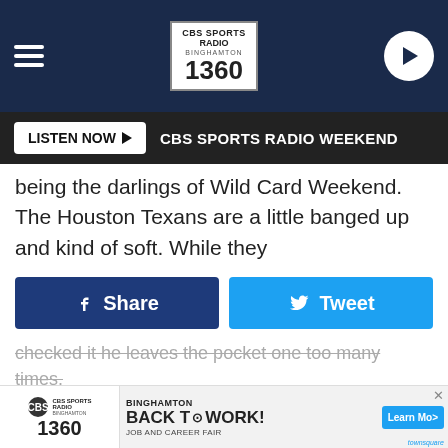[Figure (screenshot): CBS Sports Radio 1360 Binghamton top navigation bar with hamburger menu, logo, and play button]
LISTEN NOW ▶   CBS SPORTS RADIO WEEKEND
being the darlings of Wild Card Weekend.  The Houston Texans are a little banged up and kind of soft.  While they
[Figure (infographic): Facebook Share and Twitter Tweet social sharing buttons]
checked it he leaves the pocket one too many times.
Everyone is sick of the Patriots, no one likes the Eagles, the Saints are interesting but they're playing the Vikings who literally have like three fans around here locally, so it's Bills or bust.
Saturday night they'll be partying hard in Western New York: burning tables, destroying wings and cheap beers and singing
[Figure (infographic): CBS Sports Radio Binghamton 1360 advertisement for Back to Work Binghamton Job and Career Fair with Learn More button]